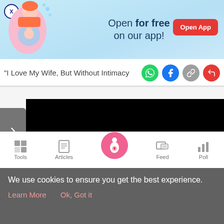[Figure (screenshot): App advertisement banner with light blue background, pregnant woman illustration, 'Open for free on our app!' text and red 'Open App' button, with X close button]
"I Love My Wife, But Without Intimacy
[Figure (screenshot): Social share icons: WhatsApp (green), Facebook (blue), link (gray), share (red)]
[Figure (screenshot): Video player area: gray navigation arrow on left, black video screen on right]
[Figure (screenshot): BitLife - Life Simulator advertisement strip with red/orange background, sperm logo, and Install button]
[Figure (screenshot): Bottom navigation bar with Tools, Articles, center pregnant woman icon, Feed, and Poll]
We use cookies to ensure you get the best experience.
Learn More   Ok, Got it